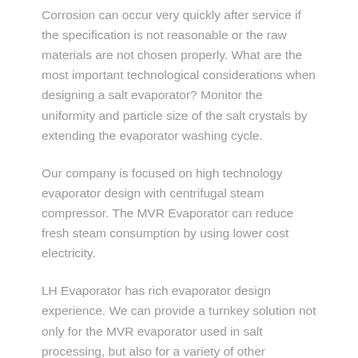Corrosion can occur very quickly after service if the specification is not reasonable or the raw materials are not chosen properly. What are the most important technological considerations when designing a salt evaporator? Monitor the uniformity and particle size of the salt crystals by extending the evaporator washing cycle.
Our company is focused on high technology evaporator design with centrifugal steam compressor. The MVR Evaporator can reduce fresh steam consumption by using lower cost electricity.
LH Evaporator has rich evaporator design experience. We can provide a turnkey solution not only for the MVR evaporator used in salt processing, but also for a variety of other applications such as pharmaceutical evaporation, milk powder evaporation, waste water disposal, sugar mill production, and so on.